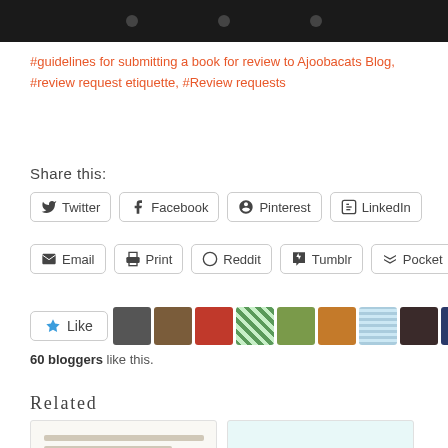[Figure (screenshot): Dark top banner with three circles/dots]
#guidelines for submitting a book for review to Ajoobacats Blog, #review request etiquette, #Review requests
Share this:
Twitter Facebook Pinterest LinkedIn Email Print Reddit Tumblr Pocket (share buttons)
[Figure (screenshot): Like button with star icon and 60 blogger avatars]
60 bloggers like this.
Related
[Figure (screenshot): Two related article thumbnails at the bottom]